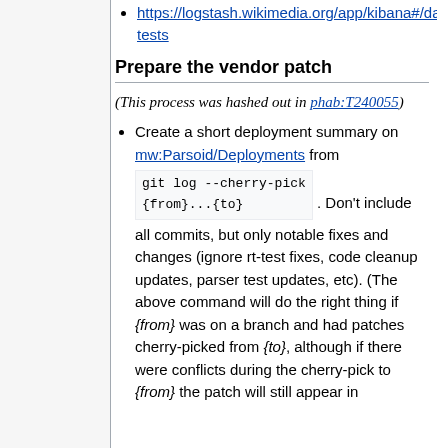https://logstash.wikimedia.org/app/kibana#/dashboard/parsoid-tests
Prepare the vendor patch
(This process was hashed out in phab:T240055)
Create a short deployment summary on mw:Parsoid/Deployments from git log --cherry-pick {from}...{to}. Don't include all commits, but only notable fixes and changes (ignore rt-test fixes, code cleanup updates, parser test updates, etc). (The above command will do the right thing if {from} was on a branch and had patches cherry-picked from {to}, although if there were conflicts during the cherry-pick to {from} the patch will still appear in